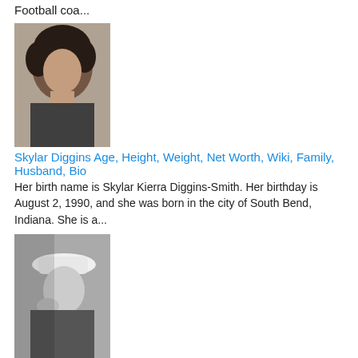Football coa...
[Figure (photo): Photo of Skylar Diggins, a young woman with curly hair]
Skylar Diggins Age, Height, Weight, Net Worth, Wiki, Family, Husband, Bio
Her birth name is Skylar Kierra Diggins-Smith. Her birthday is August 2, 1990, and she was born in the city of South Bend, Indiana. She is a...
[Figure (photo): Black and white photo of Golshifteh Farahani wearing a white hat]
Golshifteh Farahani Age, Height, Weight, Net Worth, Wiki, Family, Husband, Bio
Who Is Golshifteh Farahani? (Age, Height, weight, birth place) Golshifteh Farahani  is a popular Actress, Musician, and Singer, who ...
[Figure (photo): Photo of a musician standing in front of vertical stripes with blue and black background, holding a guitar]
... Age, Height, Weight, Net Worth, Wife, Wiki, Family, Si...